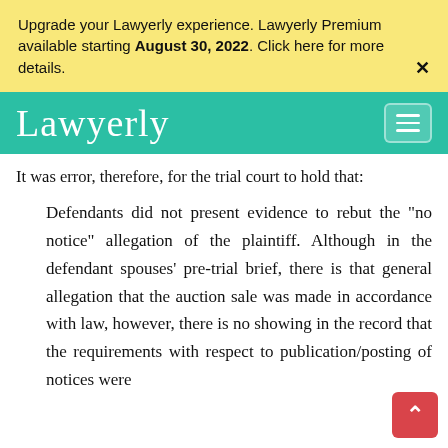Upgrade your Lawyerly experience. Lawyerly Premium available starting August 30, 2022. Click here for more details.
Lawyerly
It was error, therefore, for the trial court to hold that:
Defendants did not present evidence to rebut the "no notice" allegation of the plaintiff. Although in the defendant spouses' pre-trial brief, there is that general allegation that the auction sale was made in accordance with law, however, there is no showing in the record that the requirements with respect to publication/posting of notices were